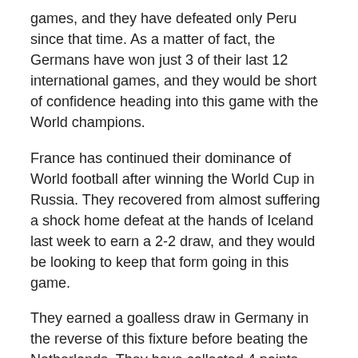games, and they have defeated only Peru since that time. As a matter of fact, the Germans have won just 3 of their last 12 international games, and they would be short of confidence heading into this game with the World champions.
France has continued their dominance of World football after winning the World Cup in Russia. They recovered from almost suffering a shock home defeat at the hands of Iceland last week to earn a 2-2 draw, and they would be looking to keep that form going in this game.
They earned a goalless draw in Germany in the reverse of this fixture before beating the Netherlands. They have collected 4 points from two fixtures in this competition and a win here would almost certainly ensure qualification for the semifinals.